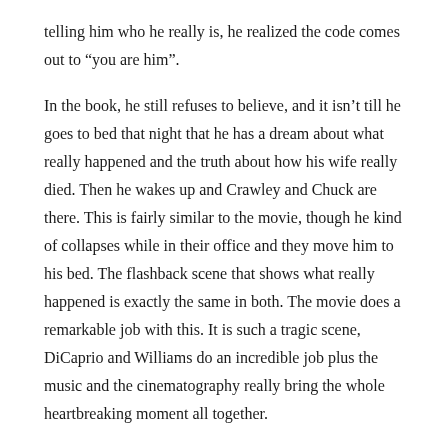telling him who he really is, he realized the code comes out to “you are him”.
In the book, he still refuses to believe, and it isn’t till he goes to bed that night that he has a dream about what really happened and the truth about how his wife really died. Then he wakes up and Crawley and Chuck are there. This is fairly similar to the movie, though he kind of collapses while in their office and they move him to his bed. The flashback scene that shows what really happened is exactly the same in both. The movie does a remarkable job with this. It is such a tragic scene, DiCaprio and Williams do an incredible job plus the music and the cinematography really bring the whole heartbreaking moment all together.
One change they made in the movie I didn’t like, was the names of